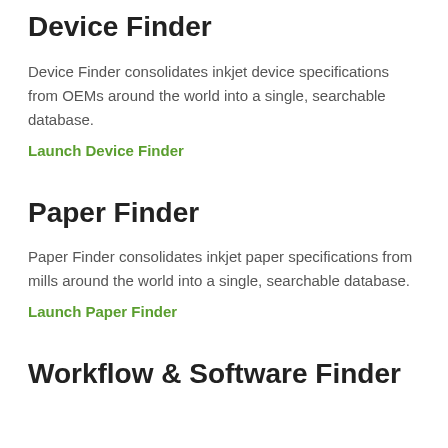Device Finder
Device Finder consolidates inkjet device specifications from OEMs around the world into a single, searchable database.
Launch Device Finder
Paper Finder
Paper Finder consolidates inkjet paper specifications from mills around the world into a single, searchable database.
Launch Paper Finder
Workflow & Software Finder